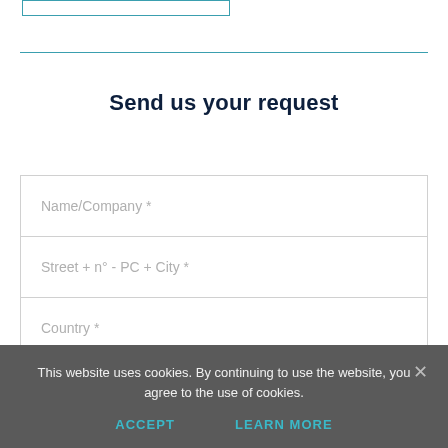[Figure (screenshot): Partial input text box visible at top of page, with teal/blue border]
Send us your request
Name/Company *
Street + n° - PC + City *
Country *
This website uses cookies. By continuing to use the website, you agree to the use of cookies.
ACCEPT
LEARN MORE